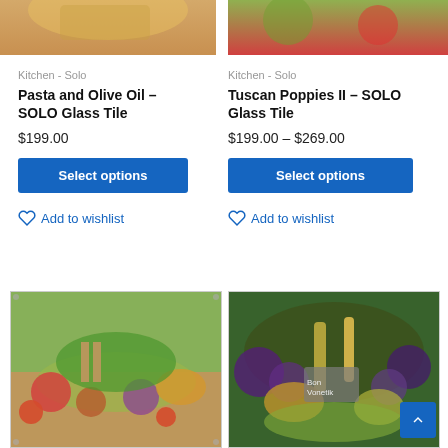[Figure (photo): Partial product image top left - Pasta and Olive Oil glass tile, cropped]
[Figure (photo): Partial product image top right - Tuscan Poppies II glass tile, cropped]
Kitchen - Solo
Pasta and Olive Oil – SOLO Glass Tile
$199.00
Select options
Add to wishlist
Kitchen - Solo
Tuscan Poppies II – SOLO Glass Tile
$199.00 – $269.00
Select options
Add to wishlist
[Figure (photo): Product image bottom left - colorful vegetables and produce arrangement on a table, glass tile art]
[Figure (photo): Product image bottom right - grapes, wine, cheese and fruits arrangement, glass tile art]